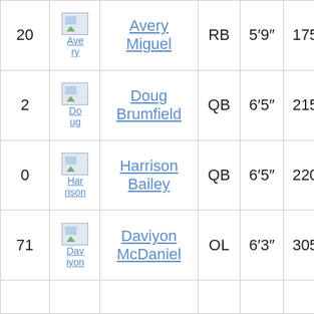| # | Photo | Name | Pos | Ht | Wt |
| --- | --- | --- | --- | --- | --- |
| 20 | Avery | Avery Miguel | RB | 5′9″ | 175 |
| 2 | Doug | Doug Brumfield | QB | 6′5″ | 215 |
| 0 | Harrison | Harrison Bailey | QB | 6′5″ | 220 |
| 71 | Daviyon | Daviyon McDaniel | OL | 6′3″ | 305 |